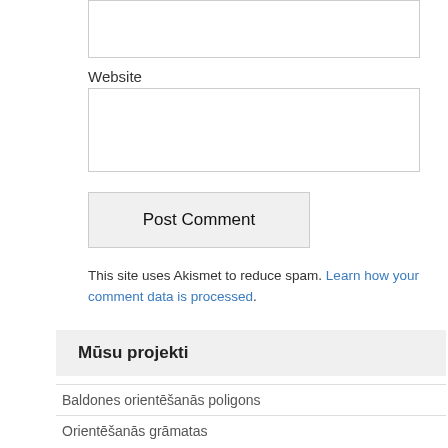Website
Post Comment
This site uses Akismet to reduce spam. Learn how your comment data is processed.
Mūsu projekti
Baldones orientēšanās poligons
Orientēšanās grāmatas
Orientēšanās klubu futbola turnīrs
Telpu orientēšanās